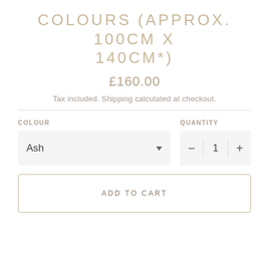COLOURS (APPROX. 100CM X 140CM*)
£160.00
Tax included. Shipping calculated at checkout.
COLOUR
QUANTITY
Ash
1
ADD TO CART